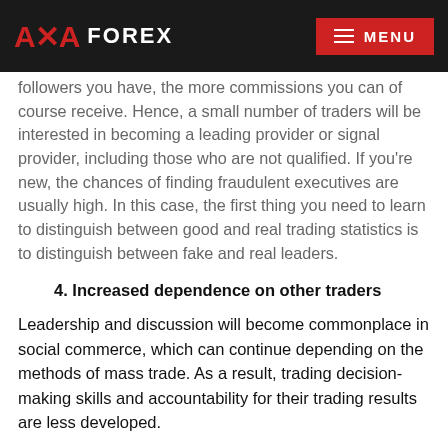AZA FOREX | MENU
followers you have, the more commissions you can of course receive. Hence, a small number of traders will be interested in becoming a leading provider or signal provider, including those who are not qualified. If you're new, the chances of finding fraudulent executives are usually high. In this case, the first thing you need to learn to distinguish between good and real trading statistics is to distinguish between fake and real leaders.
4. Increased dependence on other traders
Leadership and discussion will become commonplace in social commerce, which can continue depending on the methods of mass trade. As a result, trading decision-making skills and accountability for their trading results are less developed.
Not surprisingly, some traders who prefer forex trading